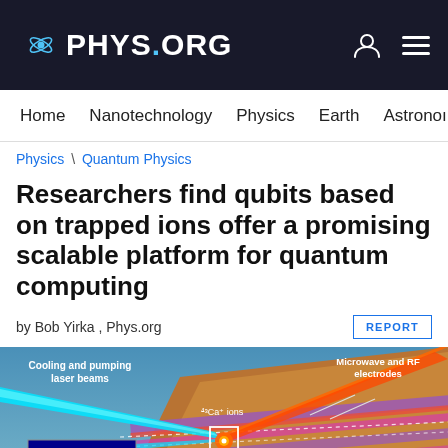PHYS.ORG
Home  Nanotechnology  Physics  Earth  Astronomy
Physics \ Quantum Physics
Researchers find qubits based on trapped ions offer a promising scalable platform for quantum computing
by Bob Yirka , Phys.org
[Figure (illustration): Scientific diagram showing a trapped ion quantum computing chip with labeled components: Cooling and pumping laser beams (cyan beams from left), 43Ca+ ions (center, glowing orange dot in white box), Microwave and RF electrodes (upper right, orange/gold chip structure), and an inset fluorescence image showing a single trapped ion (blue background with bright yellow dot).]